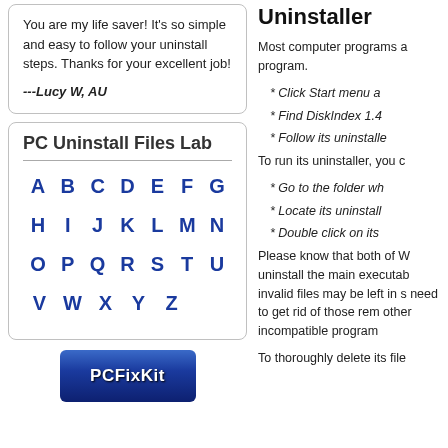You are my life saver! It's so simple and easy to follow your uninstall steps. Thanks for your excellent job!
---Lucy W, AU
PC Uninstall Files Lab
A B C D E F G
H I J K L M N
O P Q R S T U
V W X Y Z
[Figure (logo): PCFixKit logo — blue gradient button with white bold text reading PCFixKit]
Uninstaller
Most computer programs a program.
* Click Start menu a
* Find DiskIndex 1.4
* Follow its uninstalle
To run its uninstaller, you c
* Go to the folder wh
* Locate its uninstall
* Double click on its
Please know that both of W uninstall the main executab invalid files may be left in s need to get rid of those rem other incompatible program
To thoroughly delete its file